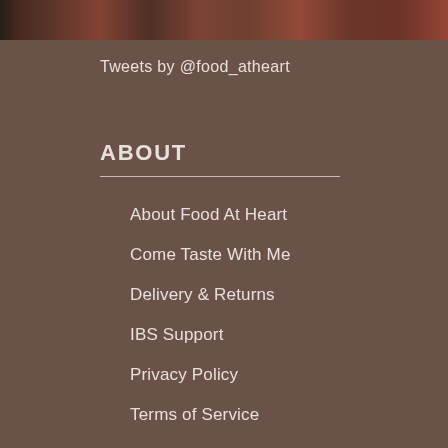[Figure (photo): Cropped food photography strip at top of page showing cooked/prepared food items in reddish-brown tones]
Tweets by @food_atheart
ABOUT
About Food At Heart
Come Taste With Me
Delivery & Returns
IBS Support
Privacy Policy
Terms of Service
Contact